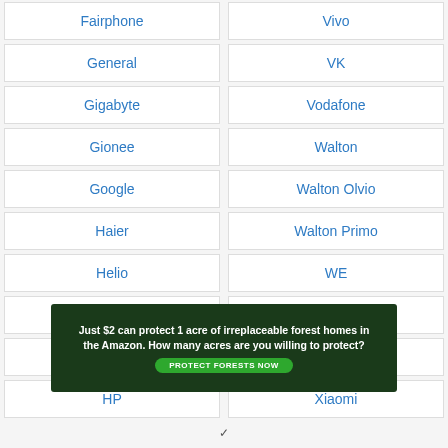Fairphone
Vivo
General
VK
Gigabyte
Vodafone
Gionee
Walton
Google
Walton Olvio
Haier
Walton Primo
Helio
WE
Hisense
Wiko
Honor
XCute
HP
Xiaomi
[Figure (infographic): Advertisement banner: Just $2 can protect 1 acre of irreplaceable forest homes in the Amazon. How many acres are you willing to protect? PROTECT FORESTS NOW button.]
v